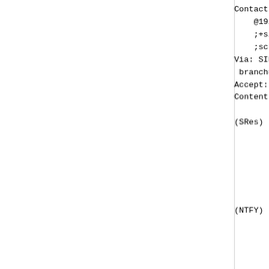Contact: sip:urn%3auuid%3a
    @192.168.1.44
    ;+sip.instance="<urn:uu
    ;schemes="http,https"
Via: SIP/2.0/TCP 192.0.2.4
 branch=z9hG4bK6d6d35b6e2
Accept: message/external-b
Content-Length: 0

(SRes)  the SUBSCRIBE requ
         service provider's netw
         PDS accepts the respons

         *   Note: The device and
                   secure communication

(NTFY)  subsequently, the
         indicating the profile

         *   Note: Some of the f:
              a separate line due